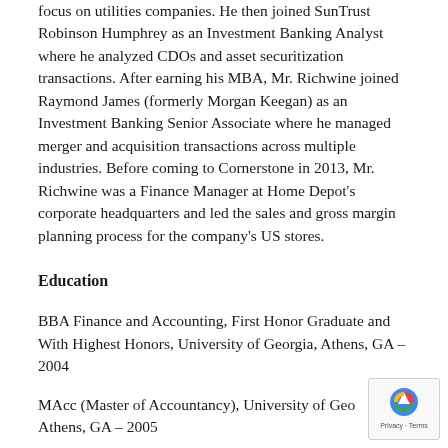focus on utilities companies. He then joined SunTrust Robinson Humphrey as an Investment Banking Analyst where he analyzed CDOs and asset securitization transactions. After earning his MBA, Mr. Richwine joined Raymond James (formerly Morgan Keegan) as an Investment Banking Senior Associate where he managed merger and acquisition transactions across multiple industries. Before coming to Cornerstone in 2013, Mr. Richwine was a Finance Manager at Home Depot's corporate headquarters and led the sales and gross margin planning process for the company's US stores.
Education
BBA Finance and Accounting, First Honor Graduate and With Highest Honors, University of Georgia, Athens, GA – 2004
MAcc (Master of Accountancy), University of Georgia, Athens, GA – 2005